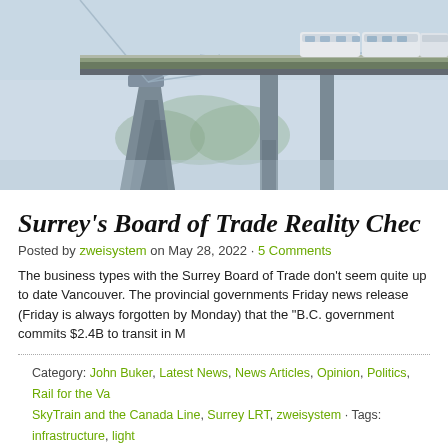[Figure (photo): Photo of a SkyTrain transit vehicle crossing a large cable-stay bridge in misty/foggy conditions, viewed from below and to the side. The bridge has large concrete pylons and suspension cables. The train cars are visible on top of the elevated guideway.]
Surrey's Board of Trade Reality Chec
Posted by zweisystem on May 28, 2022 · 5 Comments
The business types with the Surrey Board of Trade don't seem quite up to date Vancouver. The provincial governments Friday news release (Friday is always forgotten by Monday) that the "B.C. government commits $2.4B to transit in M
Category: John Buker, Latest News, News Articles, Opinion, Politics, Rail for the Va SkyTrain and the Canada Line, Surrey LRT, zweisystem · Tags: infrastructure, light transit, Translink, UBC, UBC SkyTrain, Vancouver